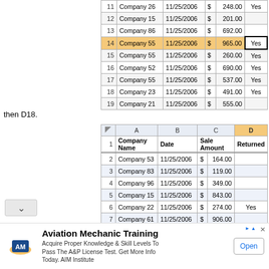|  | A | B | C | D |
| --- | --- | --- | --- | --- |
| 11 | Company 26 | 11/25/2006 | $ 248.00 | Yes |
| 12 | Company 15 | 11/25/2006 | $ 201.00 |  |
| 13 | Company 86 | 11/25/2006 | $ 692.00 |  |
| 14 | Company 55 | 11/25/2006 | $ 965.00 | Yes |
| 15 | Company 55 | 11/25/2006 | $ 260.00 | Yes |
| 16 | Company 52 | 11/25/2006 | $ 690.00 | Yes |
| 17 | Company 55 | 11/25/2006 | $ 537.00 | Yes |
| 18 | Company 23 | 11/25/2006 | $ 491.00 | Yes |
| 19 | Company 21 | 11/25/2006 | $ 555.00 |  |
then D18.
|  | A Company Name | B Date | C Sale Amount | D Returned |
| --- | --- | --- | --- | --- |
| 2 | Company 53 | 11/25/2006 | $ 164.00 |  |
| 3 | Company 83 | 11/25/2006 | $ 119.00 |  |
| 4 | Company 96 | 11/25/2006 | $ 349.00 |  |
| 5 | Company 15 | 11/25/2006 | $ 843.00 |  |
| 6 | Company 22 | 11/25/2006 | $ 274.00 | Yes |
| 7 | Company 61 | 11/25/2006 | $ 906.00 |  |
| 8 | Company 93 | 11/25/2006 | $ 270.00 |  |
| 9 | Company 25 | 11/25/2006 | $ 697.00 | Yes |
| 10 | Company 82 | 11/25/2006 | $ 930.00 |  |
| 11 | Company 26 | 11/25/2006 | $ 248.00 | Yes |